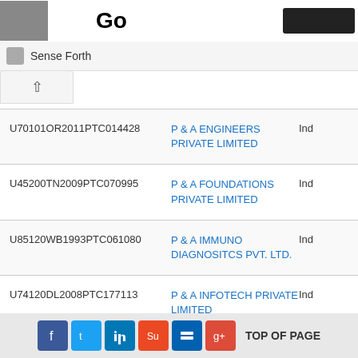Go
Sense Forth
| CIN | Company Name | Ind |
| --- | --- | --- |
| U70101OR2011PTC014428 | P & A ENGINEERS PRIVATE LIMITED | Ind |
| U45200TN2009PTC070995 | P & A FOUNDATIONS PRIVATE LIMITED | Ind |
| U85120WB1993PTC061080 | P & A IMMUNO DIAGNOSITCS PVT. LTD. | Ind |
| U74120DL2008PTC177113 | P & A INFOTECH PRIVATE LIMITED | Ind |
TOP OF PAGE